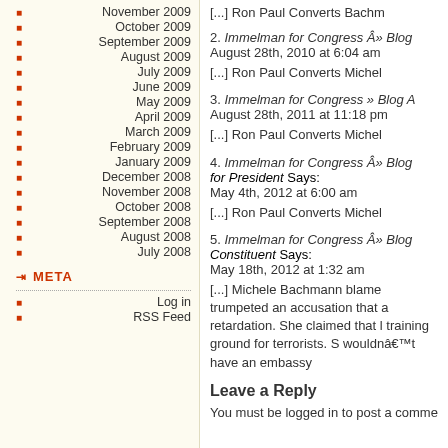November 2009
October 2009
September 2009
August 2009
July 2009
June 2009
May 2009
April 2009
March 2009
February 2009
January 2009
December 2008
November 2008
October 2008
September 2008
August 2008
July 2008
META
Log in
RSS Feed
[...] Ron Paul Converts Bachm
2. Immelman for Congress Â» Blog August 28th, 2010 at 6:04 am

[...] Ron Paul Converts Michel
3. Immelman for Congress » Blog A August 28th, 2011 at 11:18 pm

[...] Ron Paul Converts Michel
4. Immelman for Congress Â» Blog for President Says: May 4th, 2012 at 6:00 am

[...] Ron Paul Converts Michel
5. Immelman for Congress Â» Blog Constituent Says: May 18th, 2012 at 1:32 am

[...] Michele Bachmann blame trumpeted an accusation that a retardation. She claimed that l training ground for terrorists. S wouldnât have an embassy
Leave a Reply
You must be logged in to post a comme